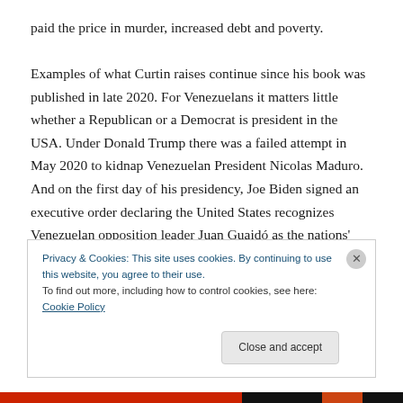paid the price in murder, increased debt and poverty.

Examples of what Curtin raises continue since his book was published in late 2020. For Venezuelans it matters little whether a Republican or a Democrat is president in the USA. Under Donald Trump there was a failed attempt in May 2020 to kidnap Venezuelan President Nicolas Maduro. And on the first day of his presidency, Joe Biden signed an executive order declaring the United States recognizes Venezuelan opposition leader Juan Guaidó as the nations' President. This despite Maduro winning over
Privacy & Cookies: This site uses cookies. By continuing to use this website, you agree to their use.
To find out more, including how to control cookies, see here: Cookie Policy
Close and accept